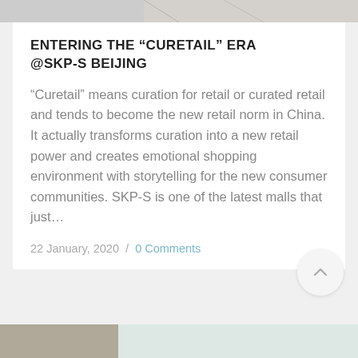[Figure (photo): Top image strip cropped from a photo above the article card]
ENTERING THE “CURETAIL” ERA @SKP-S BEIJING
“Curetail” means curation for retail or curated retail and tends to become the new retail norm in China. It actually transforms curation into a new retail power and creates emotional shopping environment with storytelling for the new consumer communities. SKP-S is one of the latest malls that just…
22 January, 2020 / 0 Comments
[Figure (photo): Bottom image strip showing two cropped photos side by side]